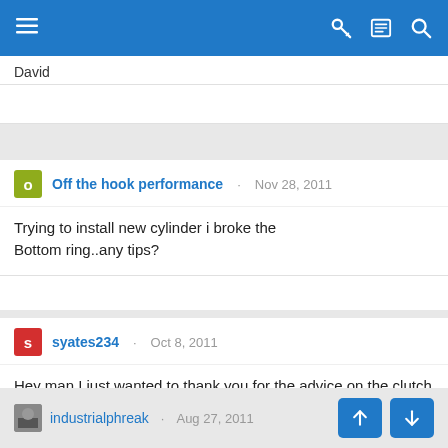Navigation bar with menu, key, list, and search icons
David
Off the hook performance · Nov 28, 2011
Trying to install new cylinder i broke the Bottom ring..any tips?
syates234 · Oct 8, 2011
Hey man I just wanted to thank you for the advice on the clutch it helped and fired right up. And bu chance you don't o ow where I cm get clutch pads do you???
industrialphreak · Aug 27, 2011